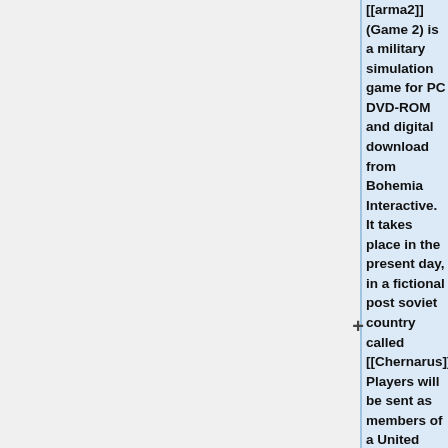[[arma2]] (Game 2) is a military simulation game for PC DVD-ROM and digital download from Bohemia Interactive. It takes place in the present day, in a fictional post soviet country called [[Chernarus]]. Players will be sent as members of a United States Marine Corps Force Recon squad to this